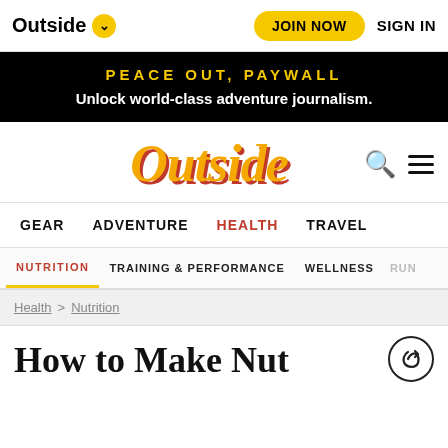Outside  JOIN NOW  SIGN IN
PEACE OUT, PAYWALL
Unlock world-class adventure journalism.
[Figure (logo): Outside magazine logo in yellow-orange italic serif text with red shadow]
GEAR   ADVENTURE   HEALTH   TRAVEL
NUTRITION   TRAINING & PERFORMANCE   WELLNESS   RUN
Health > Nutrition
How to Make Nut